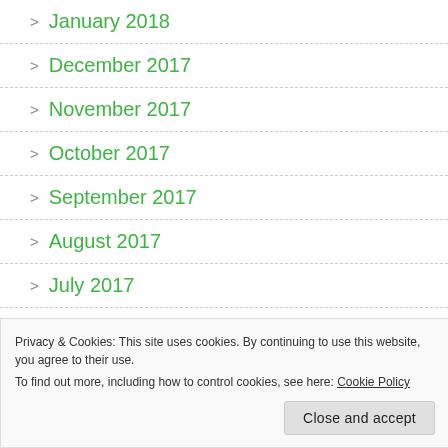January 2018
December 2017
November 2017
October 2017
September 2017
August 2017
July 2017
Privacy & Cookies: This site uses cookies. By continuing to use this website, you agree to their use.
To find out more, including how to control cookies, see here: Cookie Policy
Close and accept